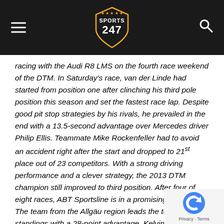Sports 247 logo header with hamburger menu and search icon
racing with the Audi R8 LMS on the fourth race weekend of the DTM. In Saturday's race, van der Linde had started from position one after clinching his third pole position this season and set the fastest race lap. Despite good pit stop strategies by his rivals, he prevailed in the end with a 13.5-second advantage over Mercedes driver Philip Ellis. Teammate Mike Rockenfeller had to avoid an accident right after the start and dropped to 21st place out of 23 competitors. With a strong driving performance and a clever strategy, the 2013 DTM champion still improved to third position. After four of eight races, ABT Sportsline is in a promising position: The team from the Allgäu region leads the team standings with a 28-point advantage. Kelvin van der Linde is now 33 points ahead of Merc driver Maxi Götz in the drivers' standings.